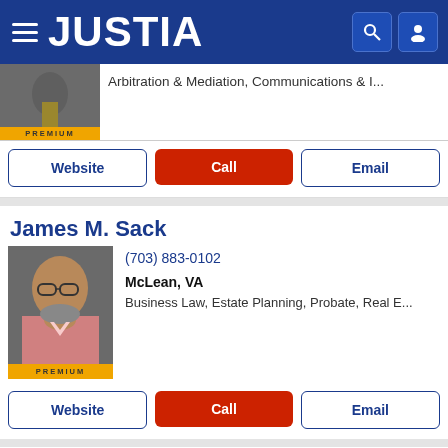JUSTIA
Arbitration & Mediation, Communications & I...
Website | Call | Email
James M. Sack
(703) 883-0102
McLean, VA
Business Law, Estate Planning, Probate, Real E...
Website | Call | Email
Jamie J. Sack
(703) 883-0102